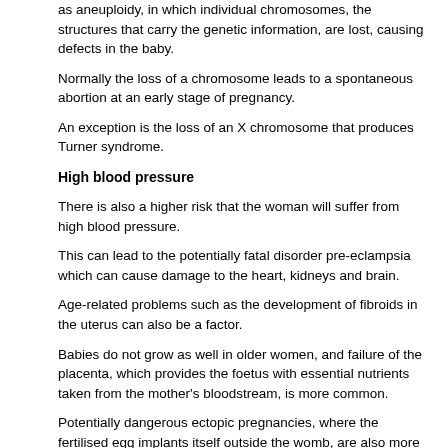as aneuploidy, in which individual chromosomes, the structures that carry the genetic information, are lost, causing defects in the baby.
Normally the loss of a chromosome leads to a spontaneous abortion at an early stage of pregnancy.
An exception is the loss of an X chromosome that produces Turner syndrome.
High blood pressure
There is also a higher risk that the woman will suffer from high blood pressure.
This can lead to the potentially fatal disorder pre-eclampsia which can cause damage to the heart, kidneys and brain.
Age-related problems such as the development of fibroids in the uterus can also be a factor.
Babies do not grow as well in older women, and failure of the placenta, which provides the foetus with essential nutrients taken from the mother's bloodstream, is more common.
Potentially dangerous ectopic pregnancies, where the fertilised egg implants itself outside the womb, are also more common in older women as is diabetes.
An additional rate of fertility is the risk of...